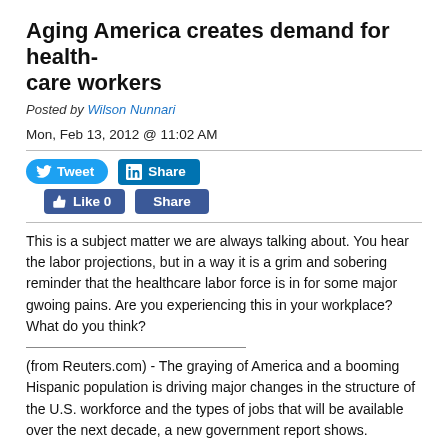Aging America creates demand for health-care workers
Posted by Wilson Nunnari
Mon, Feb 13, 2012 @ 11:02 AM
[Figure (other): Social media sharing buttons: Tweet (Twitter), Share (LinkedIn), Like 0 (Facebook), Share (Facebook)]
This is a subject matter we are always talking about. You hear the labor projections, but in a way it is a grim and sobering reminder that the healthcare labor force is in for some major gwoing pains. Are you experiencing this in your workplace? What do you think?
(from Reuters.com) - The graying of America and a booming Hispanic population is driving major changes in the structure of the U.S. workforce and the types of jobs that will be available over the next decade, a new government report shows.